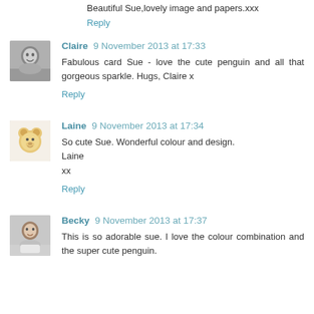Beautiful Sue,lovely image and papers.xxx
Reply
[Figure (photo): Avatar photo of Claire, a woman smiling, black and white]
Claire 9 November 2013 at 17:33
Fabulous card Sue - love the cute penguin and all that gorgeous sparkle. Hugs, Claire x
Reply
[Figure (photo): Avatar illustration of a cartoon bear/animal character]
Laine 9 November 2013 at 17:34
So cute Sue. Wonderful colour and design.
Laine
xx
Reply
[Figure (photo): Avatar photo of Becky, a young person]
Becky 9 November 2013 at 17:37
This is so adorable sue. I love the colour combination and the super cute penguin.